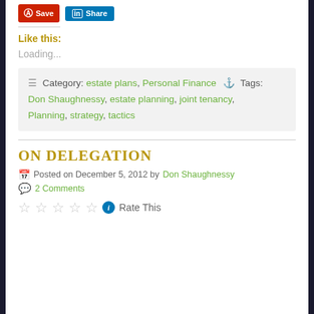[Figure (other): Social sharing buttons: red Save button and LinkedIn Share button]
Like this:
Loading...
Category: estate plans, Personal Finance   Tags: Don Shaughnessy, estate planning, joint tenancy, Planning, strategy, tactics
ON DELEGATION
Posted on December 5, 2012 by Don Shaughnessy
2 Comments
Rate This